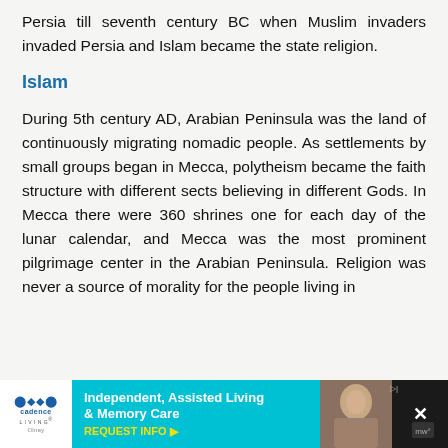Persia till seventh century BC when Muslim invaders invaded Persia and Islam became the state religion.
Islam
During 5th century AD, Arabian Peninsula was the land of continuously migrating nomadic people. As settlements by small groups began in Mecca, polytheism became the faith structure with different sects believing in different Gods. In Mecca there were 360 shrines one for each day of the lunar calendar, and Mecca was the most prominent pilgrimage center in the Arabian Peninsula. Religion was never a source of morality for the people living in...
[Figure (other): Advertisement banner for Cadence Living – Independent, Assisted Living & Memory Care with REQUEST INFO button and a photo of an elderly person]